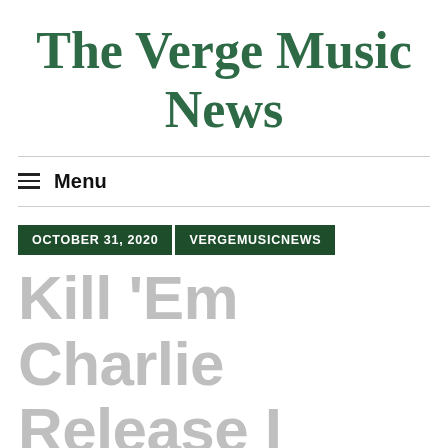The Verge Music News
Menu
OCTOBER 31, 2020 VERGEMUSICNEWS
Kill 'Em Charlie Release I Hope This Works for You (Cause It D...